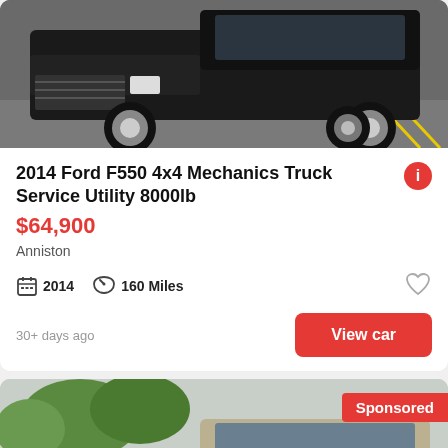[Figure (photo): Photo of a black Ford F550 truck in a parking lot, cropped to show front/top portion]
2014 Ford F550 4x4 Mechanics Truck Service Utility 8000lb
$64,900
Anniston
2014  160 Miles
30+ days ago
View car
[Figure (photo): Photo of a silver/tan Ford F250 or F350 truck at a dealership lot with a 'Sponsored' badge and 'See photo' button overlay. WE PAY banner visible at the bottom.]